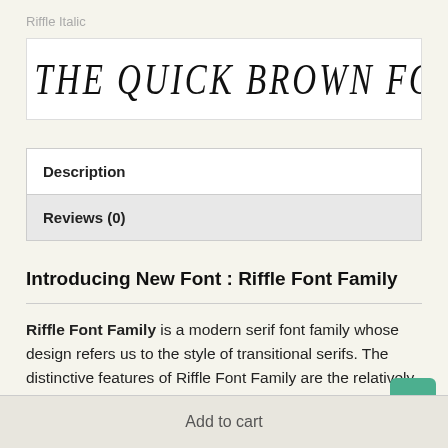Riffle Italic
[Figure (other): Font preview box showing italic condensed serif text: THE QUICK BROWN FOX JUMPS OVER TH]
| Description |
| Reviews (0) |
Introducing New Font : Riffle Font Family
Riffle Font Family is a modern serif font family whose design refers us to the style of transitional serifs. The distinctive features of Riffle Font Family are the relatively low contrast of strokes, the slightly squarish shapes of
Add to cart